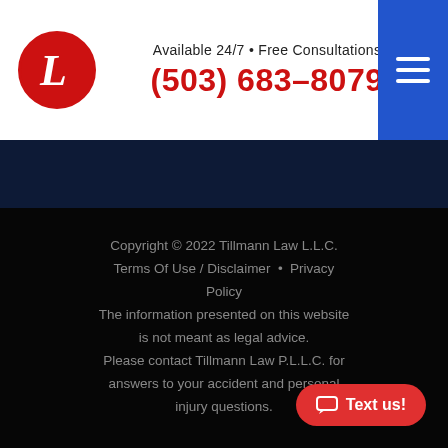Available 24/7 • Free Consultations (503) 683-8079
Copyright © 2022 Tillmann Law L.L.C. Terms Of Use / Disclaimer • Privacy Policy The information presented on this website is not meant as legal advice. Please contact Tillmann Law P.L.L.C. for answers to your accident and personal injury questions.